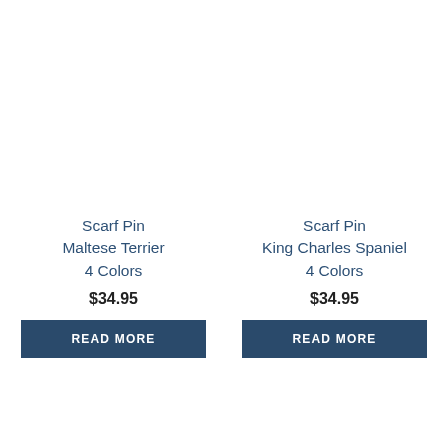Scarf Pin Maltese Terrier 4 Colors
$34.95
READ MORE
Scarf Pin King Charles Spaniel 4 Colors
$34.95
READ MORE